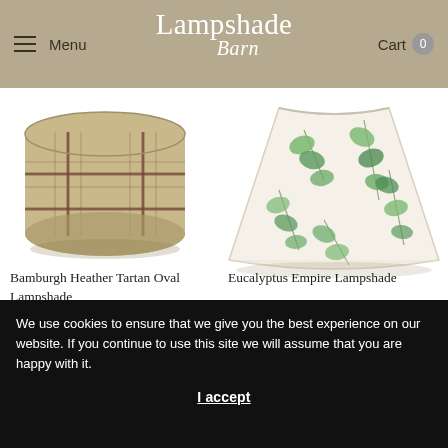Menu | Lampshade Barn | Cart 0
[Figure (photo): Bamburgh Heather Tartan Oval Lampshade - cylindrical shape with beige/tan tartan plaid pattern with dark red/brown grid lines]
Bamburgh Heather Tartan Oval Lampshade
£34.00 – £103.00
[Figure (photo): Eucalyptus Empire Lampshade - tapered empire shape with cream/white background and green eucalyptus leaf botanical print]
Eucalyptus Empire Lampshade
£50.00 – £128.00
We use cookies to ensure that we give you the best experience on our website. If you continue to use this site we will assume that you are happy with it.
I accept